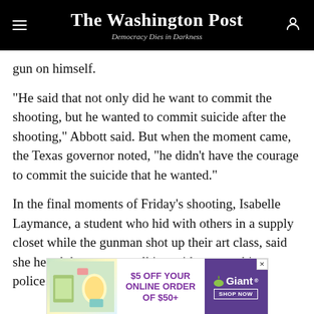The Washington Post — Democracy Dies in Darkness
gun on himself.
“He said that not only did he want to commit the shooting, but he wanted to commit suicide after the shooting,” Abbott said. But when the moment came, the Texas governor noted, “he didn’t have the courage to commit the suicide that he wanted.”
In the final moments of Friday’s shooting, Isabelle Laymance, a student who hid with others in a supply closet while the gunman shot up their art class, said she heard the gunman talking with approaching police.
[Figure (other): Advertisement banner: $5 OFF YOUR ONLINE ORDER OF $50+ from Giant grocery store with Shop Now button]